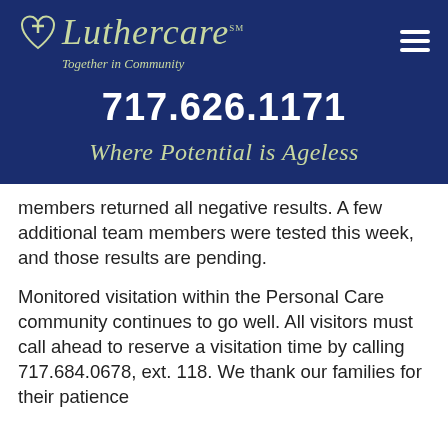[Figure (logo): Luthercare logo with heart and cross icon, tagline 'Together in Community']
717.626.1171
Where Potential is Ageless
members returned all negative results. A few additional team members were tested this week, and those results are pending.
Monitored visitation within the Personal Care community continues to go well. All visitors must call ahead to reserve a visitation time by calling 717.684.0678, ext. 118. We thank our families for their patience and understanding as we keep our